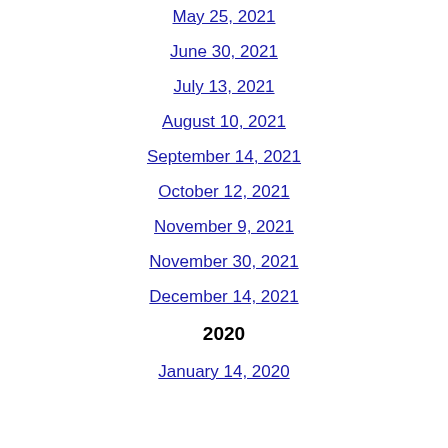May 25, 2021
June 30, 2021
July 13, 2021
August 10, 2021
September 14, 2021
October 12, 2021
November 9, 2021
November 30, 2021
December 14, 2021
2020
January 14, 2020